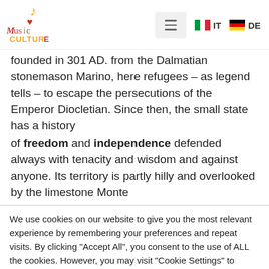[Figure (logo): Music Culture logo with musical note, heart, and colorful text]
founded in 301 AD. from the Dalmatian stonemason Marino, here refugees – as legend tells – to escape the persecutions of the Emperor Diocletian. Since then, the small state has a history of freedom and independence defended always with tenacity and wisdom and against anyone. Its territory is partly hilly and overlooked by the limestone Monte
We use cookies on our website to give you the most relevant experience by remembering your preferences and repeat visits. By clicking "Accept All", you consent to the use of ALL the cookies. However, you may visit "Cookie Settings" to provide a controlled consent.